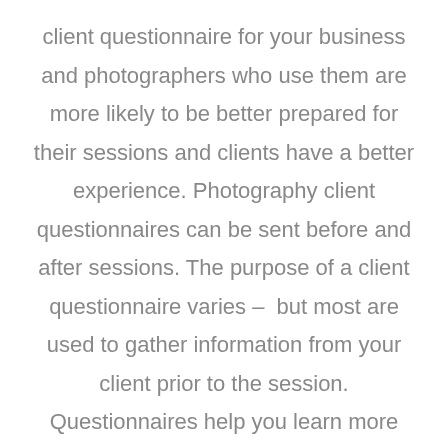client questionnaire for your business and photographers who use them are more likely to be better prepared for their sessions and clients have a better experience. Photography client questionnaires can be sent before and after sessions. The purpose of a client questionnaire varies – but most are used to gather information from your client prior to the session. Questionnaires help you learn more about your clients, create a plan for success, and helps your client know that you are invested in their goals for their session. If you are sending questionnaires after the session too – this can be a powerful tool to gain feedback and improve